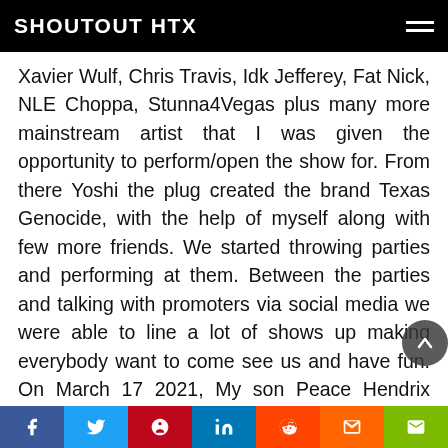SHOUTOUT HTX
Xavier Wulf, Chris Travis, Idk Jefferey, Fat Nick, NLE Choppa, Stunna4Vegas plus many more mainstream artist that I was given the opportunity to perform/open the show for. From there Yoshi the plug created the brand Texas Genocide, with the help of myself along with few more friends. We started throwing parties and performing at them. Between the parties and talking with promoters via social media we were able to line a lot of shows up making everybody want to come see us and have fun. On March 17 2021, My son Peace Hendrix Groves was born. It was only 3 weeks later that he passed away due to SIDS.